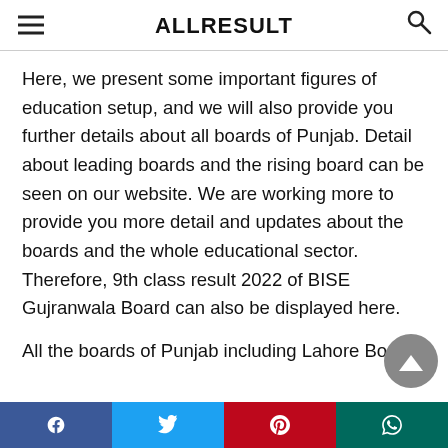ALLRESULT
Here, we present some important figures of education setup, and we will also provide you further details about all boards of Punjab. Detail about leading boards and the rising board can be seen on our website. We are working more to provide you more detail and updates about the boards and the whole educational sector. Therefore, 9th class result 2022 of BISE Gujranwala Board can also be displayed here.
All the boards of Punjab including Lahore Board,